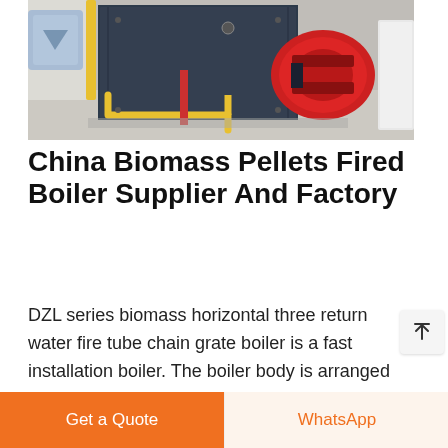[Figure (photo): Industrial biomass pellets fired boiler in a facility setting. A large dark rectangular boiler unit with a prominent red burner/motor assembly and yellow gas pipe brackets visible, on a concrete floor.]
China Biomass Pellets Fired Boiler Supplier And Factory
DZL series biomass horizontal three return water fire tube chain grate boiler is a fast installation boiler. The boiler body is arranged longitudinally in a single drum, and a threaded pyrotechnic pipe is arranged in the drum to form a convection heating